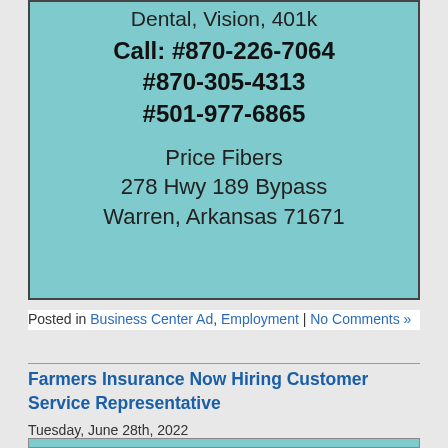[Figure (other): Advertisement box with light blue background for Price Fibers job listing showing phone numbers and address]
Dental, Vision, 401k
Call: #870-226-7064
#870-305-4313
#501-977-6865
Price Fibers
278 Hwy 189 Bypass
Warren, Arkansas 71671
Posted in Business Center Ad, Employment | No Comments »
Farmers Insurance Now Hiring Customer Service Representative
Tuesday, June 28th, 2022